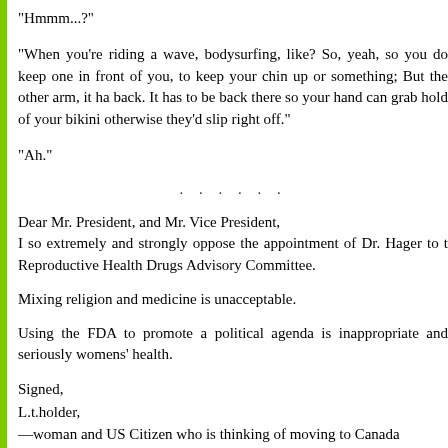"Hmmm...?"
"When you're riding a wave, bodysurfing, like? So, yeah, so you do keep one in front of you, to keep your chin up or something; But the other arm, it ha back. It has to be back there so your hand can grab hold of your bikini otherwise they'd slip right off."
"Ah."
. . . . . .
Dear Mr. President, and Mr. Vice President,
I so extremely and strongly oppose the appointment of Dr. Hager to t Reproductive Health Drugs Advisory Committee.
Mixing religion and medicine is unacceptable.
Using the FDA to promote a political agenda is inappropriate and seriously womens' health.
Signed,
L.t.holder,
—woman and US Citizen who is thinking of moving to Canada because of c